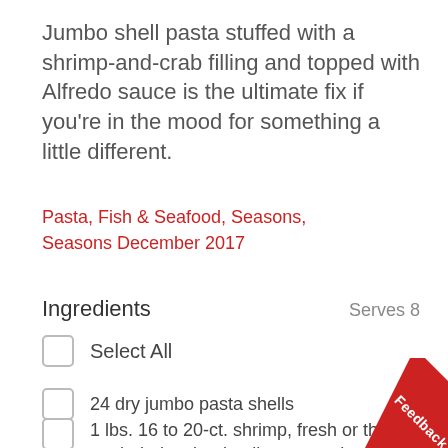Jumbo shell pasta stuffed with a shrimp-and-crab filling and topped with Alfredo sauce is the ultimate fix if you're in the mood for something a little different.
Pasta, Fish & Seafood, Seasons, Seasons December 2017
Ingredients
Serves 8
Select All
24 dry jumbo pasta shells
1 lbs. 16 to 20-ct. shrimp, fresh or thawed, peeled, deveined, tails removed